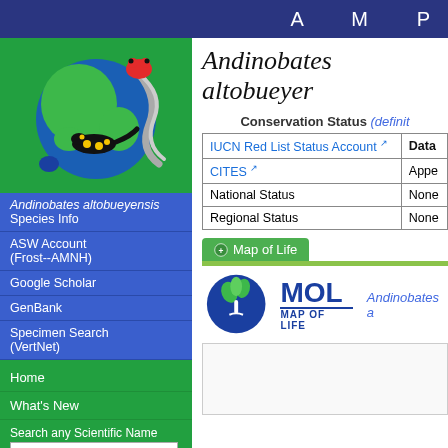A M P
[Figure (logo): AmphibiaWeb globe logo with salamander and frog on a globe]
Andinobates altobueyensis Species Info
ASW Account (Frost--AMNH)
Google Scholar
GenBank
Specimen Search (VertNet)
Home
What's New
Search any Scientific Name
Search by:
Andinobates altobueyer
Conservation Status (definit
| IUCN Red List Status Account | Data |
| --- | --- |
| CITES | Appe |
| National Status | None |
| Regional Status | None |
Map of Life
[Figure (logo): Map of Life (MOL) logo - blue tree icon with MOL text and MAP OF LIFE subtitle]
Andinobates a